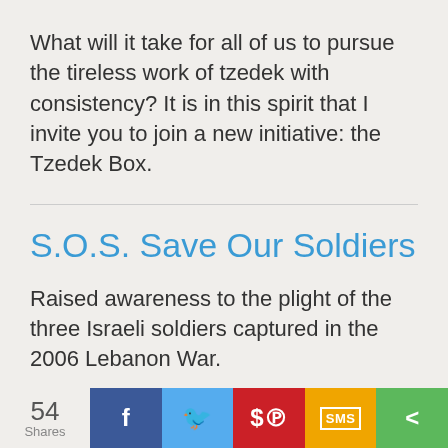What will it take for all of us to pursue the tireless work of tzedek with consistency? It is in this spirit that I invite you to join a new initiative: the Tzedek Box.
S.O.S. Save Our Soldiers
Raised awareness to the plight of the three Israeli soldiers captured in the 2006 Lebanon War.
Foster Care Outreach
54 Shares | Facebook | Twitter | Pinterest | SMS | Share